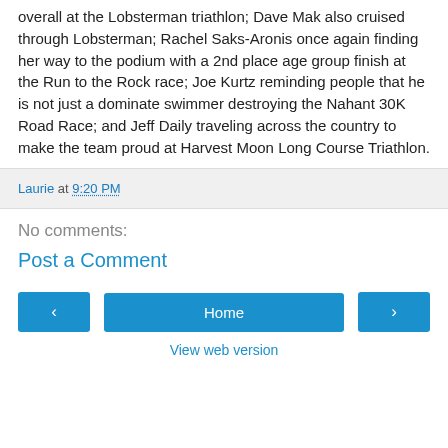overall at the Lobsterman triathlon; Dave Mak also cruised through Lobsterman; Rachel Saks-Aronis once again finding her way to the podium with a 2nd place age group finish at the Run to the Rock race; Joe Kurtz reminding people that he is not just a dominate swimmer destroying the Nahant 30K Road Race; and Jeff Daily traveling across the country to make the team proud at Harvest Moon Long Course Triathlon.
Laurie at 9:20 PM
No comments:
Post a Comment
Home
View web version